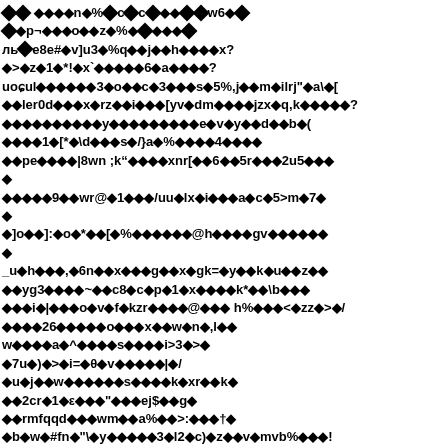Corrupted/encoded text with diamond replacement characters throughout the page — appears to be garbled binary or encoding-corrupted document content